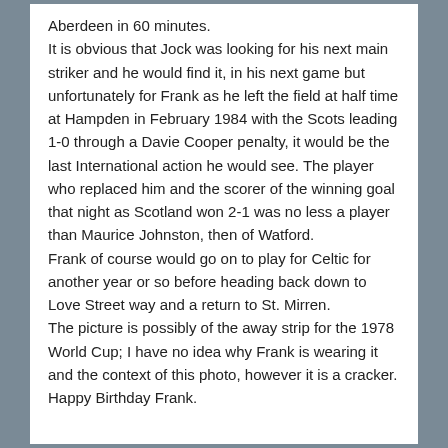Aberdeen in 60 minutes.
It is obvious that Jock was looking for his next main striker and he would find it, in his next game but unfortunately for Frank as he left the field at half time at Hampden in February 1984 with the Scots leading 1-0 through a Davie Cooper penalty, it would be the last International action he would see. The player who replaced him and the scorer of the winning goal that night as Scotland won 2-1 was no less a player than Maurice Johnston, then of Watford.
Frank of course would go on to play for Celtic for another year or so before heading back down to Love Street way and a return to St. Mirren.
The picture is possibly of the away strip for the 1978 World Cup; I have no idea why Frank is wearing it and the context of this photo, however it is a cracker. Happy Birthday Frank.